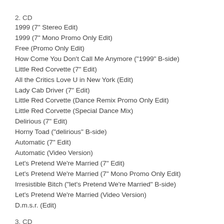2. CD
1999 (7" Stereo Edit)
1999 (7" Mono Promo Only Edit)
Free (Promo Only Edit)
How Come You Don't Call Me Anymore ("1999" B-side)
Little Red Corvette (7" Edit)
All the Critics Love U in New York (Edit)
Lady Cab Driver (7" Edit)
Little Red Corvette (Dance Remix Promo Only Edit)
Little Red Corvette (Special Dance Mix)
Delirious (7" Edit)
Horny Toad ("delirious" B-side)
Automatic (7" Edit)
Automatic (Video Version)
Let's Pretend We're Married (7" Edit)
Let's Pretend We're Married (7" Mono Promo Only Edit)
Irresistible Bitch ("let's Pretend We're Married" B-side)
Let's Pretend We're Married (Video Version)
D.m.s.r. (Edit)
3. CD
Feel U Up
Irresistible Bitch
Money Don't Grow on Trees
Vagina
Rearrange
Bold Generation
Colleen (Instrumental)
International Lover (Take 1, Live in Studio)